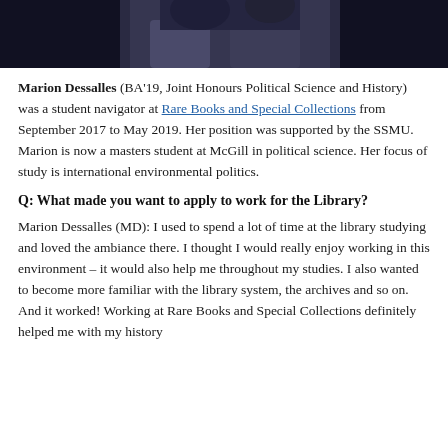[Figure (photo): Cropped photo showing a person in dark clothing, top portion of image only visible]
Marion Dessalles (BA'19, Joint Honours Political Science and History) was a student navigator at Rare Books and Special Collections from September 2017 to May 2019. Her position was supported by the SSMU. Marion is now a masters student at McGill in political science. Her focus of study is international environmental politics.
Q: What made you want to apply to work for the Library?
Marion Dessalles (MD): I used to spend a lot of time at the library studying and loved the ambiance there. I thought I would really enjoy working in this environment – it would also help me throughout my studies. I also wanted to become more familiar with the library system, the archives and so on. And it worked! Working at Rare Books and Special Collections definitely helped me with my history